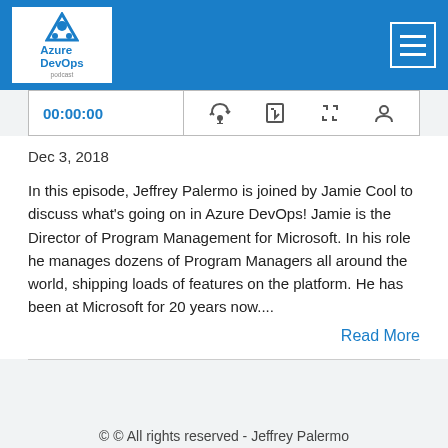[Figure (logo): Azure DevOps Podcast logo in white box on blue header bar, with hamburger menu button on the right]
[Figure (screenshot): Audio player bar showing 00:00:00 timestamp and podcast control icons: RSS, download, embed code, user]
Dec 3, 2018
In this episode, Jeffrey Palermo is joined by Jamie Cool to discuss what’s going on in Azure DevOps! Jamie is the Director of Program Management for Microsoft. In his role he manages dozens of Program Managers all around the world, shipping loads of features on the platform. He has been at Microsoft for 20 years now....
Read More
© © All rights reserved - Jeffrey Palermo